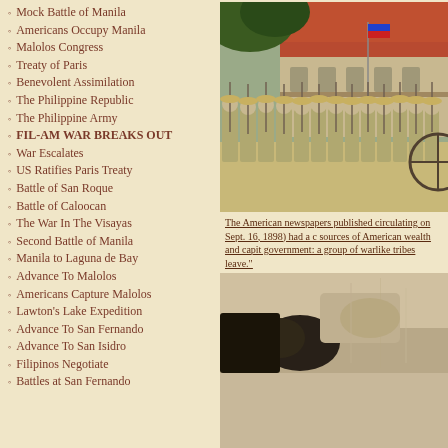Mock Battle of Manila
Americans Occupy Manila
Malolos Congress
Treaty of Paris
Benevolent Assimilation
The Philippine Republic
The Philippine Army
FIL-AM WAR BREAKS OUT
War Escalates
US Ratifies Paris Treaty
Battle of San Roque
Battle of Caloocan
The War In The Visayas
Second Battle of Manila
Manila to Laguna de Bay
Advance To Malolos
Americans Capture Malolos
Lawton's Lake Expedition
Advance To San Fernando
Advance To San Isidro
Filipinos Negotiate
Battles at San Fernando
[Figure (photo): Color photograph of Filipino soldiers in uniform standing in formation, viewed from behind, with buildings and a flag visible in the background.]
The American newspapers published circulating on Sept. 16, 1898) had a c sources of American wealth and capit government: a group of warlike tribes leave."
[Figure (photo): Black and white historical photograph, partially visible at bottom right.]